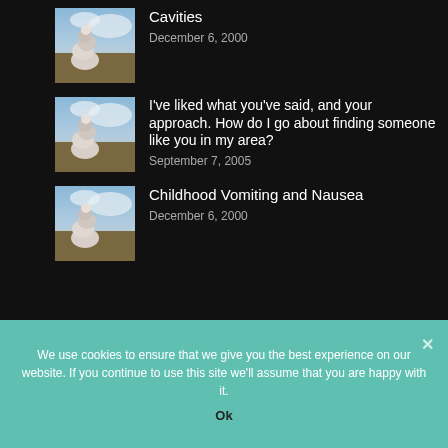Cavities
December 6, 2000
I've liked what you've said, and your approach. How do I go about finding someone like you in my area?
September 7, 2005
Childhood Vomiting and Nausea
December 6, 2000
We use cookies to ensure that we give you the best experience on our website. If you continue to use this site we'll assume that you are happy with it.
Ok